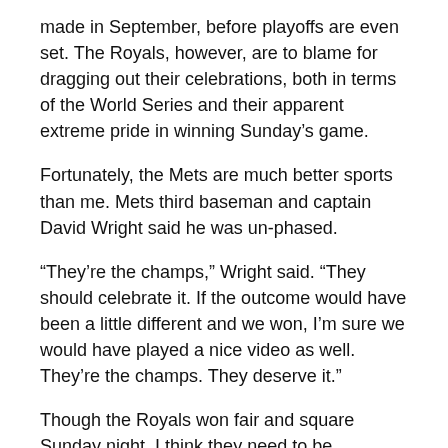made in September, before playoffs are even set. The Royals, however, are to blame for dragging out their celebrations, both in terms of the World Series and their apparent extreme pride in winning Sunday’s game.
Fortunately, the Mets are much better sports than me. Mets third baseman and captain David Wright said he was un-phased.
“They’re the champs,” Wright said. “They should celebrate it. If the outcome would have been a little different and we won, I’m sure we would have played a nice video as well. They’re the champs. They deserve it.”
Though the Royals won fair and square Sunday night, I think they need to be reminded that was Game 1 of 162, and they might want to save the Gatorade for later in the season.